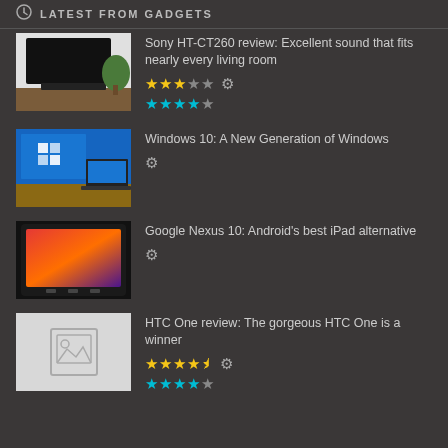LATEST FROM GADGETS
Sony HT-CT260 review: Excellent sound that fits nearly every living room
Windows 10: A New Generation of Windows
Google Nexus 10: Android's best iPad alternative
HTC One review: The gorgeous HTC One is a winner